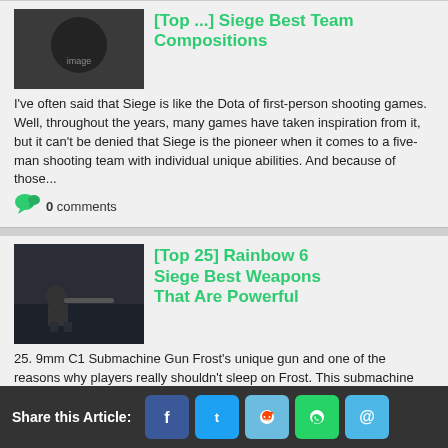[Top ...] Siege Best Team Compositions
I've often said that Siege is like the Dota of first-person shooting games. Well, throughout the years, many games have taken inspiration from it, but it can't be denied that Siege is the pioneer when it comes to a five-man shooting team with individual unique abilities. And because of those...
0 comments
[Top 25] Rainbow 6 Siege Best Weapons That Are Powerful
25. 9mm C1 Submachine Gun Frost's unique gun and one of the reasons why players really shouldn't sleep on Frost. This submachine gun features high damage output with a very stable recoil due to its slow rate of fire, making it very effective for medium to long range encounters. Though its...
0 comments
Share this Article: